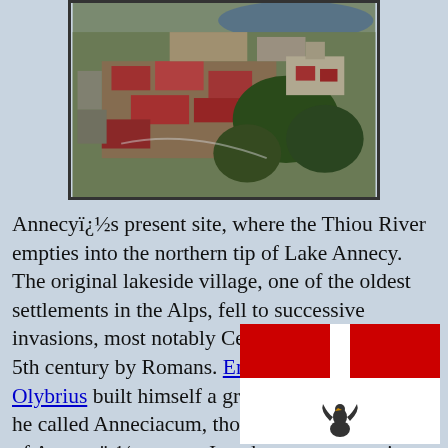[Figure (photo): Aerial photograph of Annecy, France, showing the city built around the northern tip of Lake Annecy with red-roofed buildings and surrounding green hills.]
Annecyï¿½s present site, where the Thiou River empties into the northern tip of Lake Annecy. The original lakeside village, one of the oldest settlements in the Alps, fell to successive invasions, most notably Celts, followed in the 5th century by Romans. Emperor Anicius Olybrius built himself a grand villa on the lake, he called Anneciacum, thought to be the source of Annecyï¿½s name.  In subsequent centuries the
[Figure (illustration): Partial view of what appears to be a coat of arms or flag with red and white sections and a small heraldic eagle or animal figure at the bottom right.]